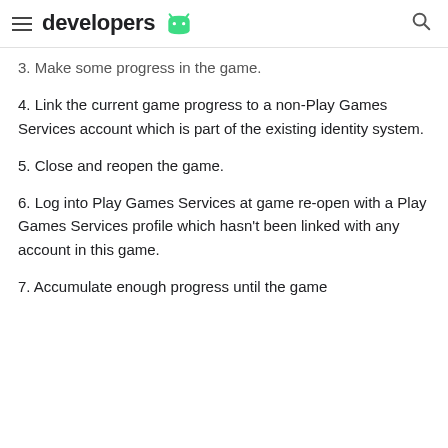developers
3. Make some progress in the game.
4. Link the current game progress to a non-Play Games Services account which is part of the existing identity system.
5. Close and reopen the game.
6. Log into Play Games Services at game re-open with a Play Games Services profile which hasn't been linked with any account in this game.
7. Accumulate enough progress until the game